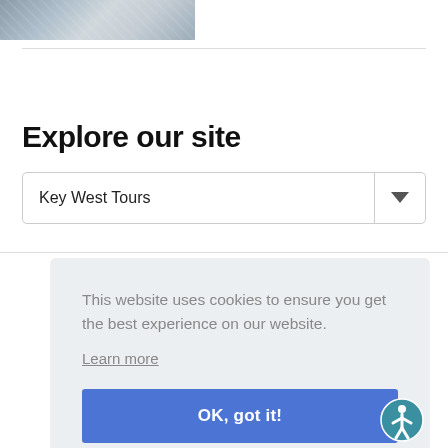[Figure (photo): Partial photo of what appears to be a boat or marine vessel, cropped at top left]
Explore our site
Key West Tours
This website uses cookies to ensure you get the best experience on our website.
Learn more
OK, got it!